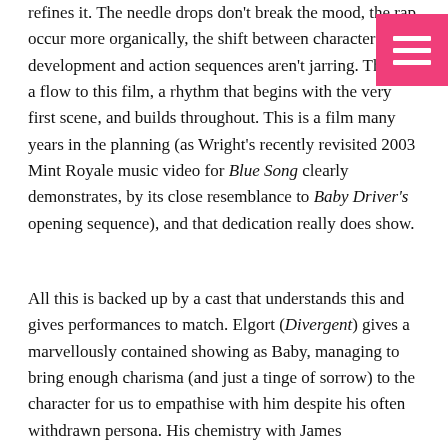refines it. The needle drops don't break the mood, the rap occur more organically, the shift between character development and action sequences aren't jarring. There [is a flow] to this film, a rhythm that begins with the very first scene, and builds throughout. This is a film many years in the planning (as Wright's recently revisited 2003 Mint Royale music video for Blue Song clearly demonstrates, by its close resemblance to Baby Driver's opening sequence), and that dedication really does show.
All this is backed up by a cast that understands this and gives performances to match. Elgort (Divergent) gives a marvellously contained showing as Baby, managing to bring enough charisma (and just a tinge of sorrow) to the character for us to empathise with him despite his often withdrawn persona. His chemistry with James (Cinderella), allows us to see another side to the titular character, one of young love, and a possible future. On the other side of the coin there is the crews he works with. Whether that's a controlling father figure (Spacey), a volatile workmate (Jamie Foxx), or a dark reflection (Jon Hamm), all bounce well off